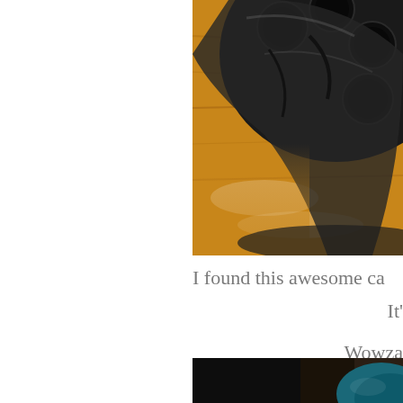[Figure (photo): Close-up photo of a black cast iron pan/skillet with multiple round wells (like a cast iron egg or cornbread pan), sitting on a wooden surface with flour dusted on it. The pan is dark/black and the wooden surface shows a warm brown tone. Image is cropped showing mostly the right portion.]
I found this awesome ca
It'
Wowza
[Figure (photo): Bottom portion of another photo showing a dark cast iron pan with a teal/blue-green colored item visible on the right edge. Image is cropped showing only the top sliver of this photo.]